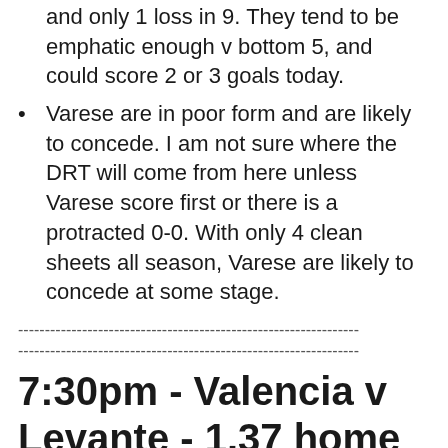and only 1 loss in 9. They tend to be emphatic enough v bottom 5, and could score 2 or 3 goals today.
Varese are in poor form and are likely to concede. I am not sure where the DRT will come from here unless Varese score first or there is a protracted 0-0. With only 4 clean sheets all season, Varese are likely to concede at some stage.
----------------------------------------------------------------
----------------------------------------------------------------
7:30pm - Valencia v Levante  - 1.37 home